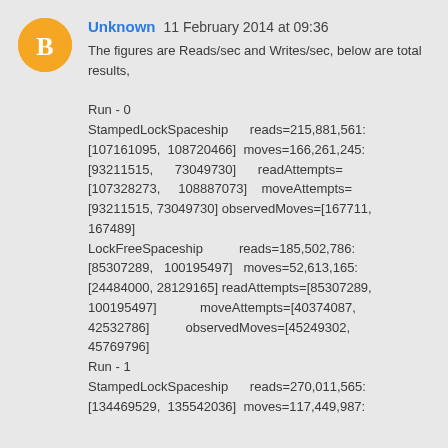[Figure (other): Orange circular avatar icon with blogger 'B' symbol]
Unknown  11 February 2014 at 09:36
The figures are Reads/sec and Writes/sec, below are total results,

Run - 0
StampedLockSpaceship      reads=215,881,561: [107161095,  108720466]  moves=166,261,245: [93211515,      73049730]      readAttempts= [107328273,     108887073]    moveAttempts= [93211515, 73049730] observedMoves=[167711, 167489]
LockFreeSpaceship          reads=185,502,786: [85307289,   100195497]   moves=52,613,165: [24484000, 28129165] readAttempts=[85307289, 100195497]          moveAttempts=[40374087, 42532786]          observedMoves=[45249302, 45769796]
Run - 1
StampedLockSpaceship      reads=270,011,565: [134469529,  135542036]  moves=117,449,987: